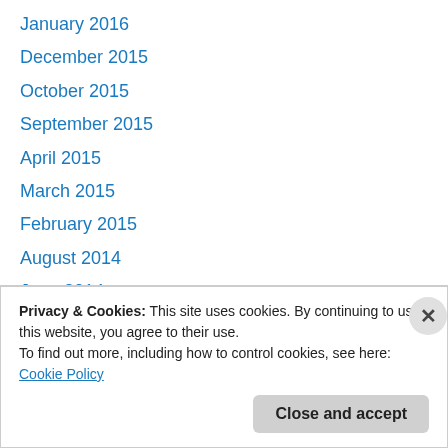January 2016
December 2015
October 2015
September 2015
April 2015
March 2015
February 2015
August 2014
June 2014
May 2014
April 2014
March 2014
February 2014
Privacy & Cookies: This site uses cookies. By continuing to use this website, you agree to their use. To find out more, including how to control cookies, see here: Cookie Policy
Close and accept